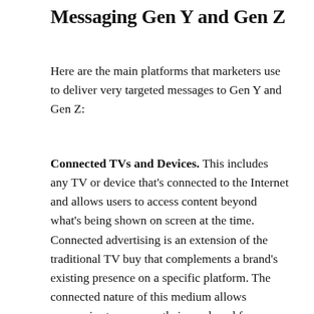Messaging Gen Y and Gen Z
Here are the main platforms that marketers use to deliver very targeted messages to Gen Y and Gen Z:
Connected TVs and Devices. This includes any TV or device that’s connected to the Internet and allows users to access content beyond what’s being shown on screen at the time. Connected advertising is an extension of the traditional TV buy that complements a brand’s existing presence on a specific platform. The connected nature of this medium allows companies to measure their reach and frequency across all devices, drill down into